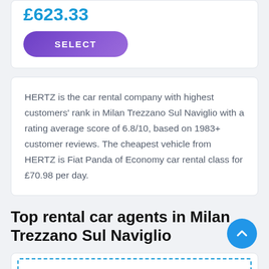£623.33
SELECT
HERTZ is the car rental company with highest customers' rank in Milan Trezzano Sul Naviglio with a rating average score of 6.8/10, based on 1983+ customer reviews. The cheapest vehicle from HERTZ is Fiat Panda of Economy car rental class for £70.98 per day.
Top rental car agents in Milan Trezzano Sul Naviglio
Good